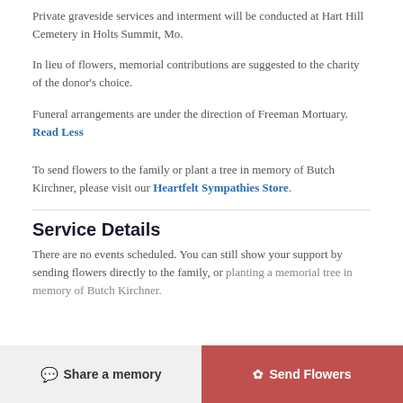Private graveside services and interment will be conducted at Hart Hill Cemetery in Holts Summit, Mo.
In lieu of flowers, memorial contributions are suggested to the charity of the donor's choice.
Funeral arrangements are under the direction of Freeman Mortuary. Read Less
To send flowers to the family or plant a tree in memory of Butch Kirchner, please visit our Heartfelt Sympathies Store.
Service Details
There are no events scheduled. You can still show your support by sending flowers directly to the family, or planting a memorial tree in memory of Butch Kirchner.
Share a memory   Send Flowers